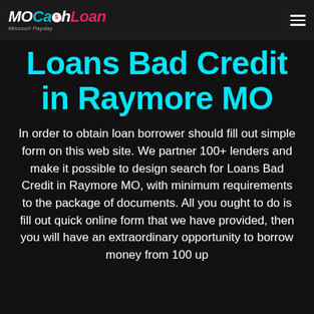MOCashLoan Missouri Payday
Loans Bad Credit in Raymore MO
In order to obtain loan borrower should fill out simple form on this web site. We partner 100+ lenders and make it possible to design search for Loans Bad Credit in Raymore MO, with minimum requirements to the package of documents. All you ought to do is fill out quick online form that we have provided, then you will have an extraordinary opportunity to borrow money from 100 up